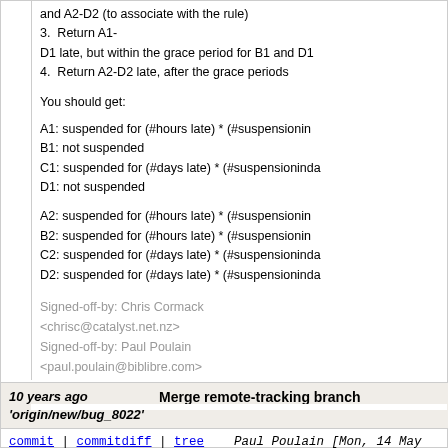and A2-D2 (to associate with the rule)
3.  Return A1-D1 late, but within the grace period for B1 and D1
4.  Return A2-D2 late, after the grace periods
You should get:
A1: suspended for (#hours late) * (#suspensioninc...
B1: not suspended
C1: suspended for (#days late) * (#suspensioninda...
D1: not suspended
A2: suspended for (#hours late) * (#suspensioninc...
B2: suspended for (#hours late) * (#suspensioninc...
C2: suspended for (#days late) * (#suspensioninda...
D2: suspended for (#days late) * (#suspensioninda...
Signed-off-by: Chris Cormack <chrisc@catalyst.net.nz>
Signed-off-by: Paul Poulain <paul.poulain@biblibre.com>
10 years ago 'origin/new/bug_8022'   Merge remote-tracking branch
commit | commitdiff | tree    Paul Poulain [Mon, 14 May 2012 16:14:10 +0000 (18:14 +0200)]
Merge remote-tracking branch 'origin/new/bug_8022'